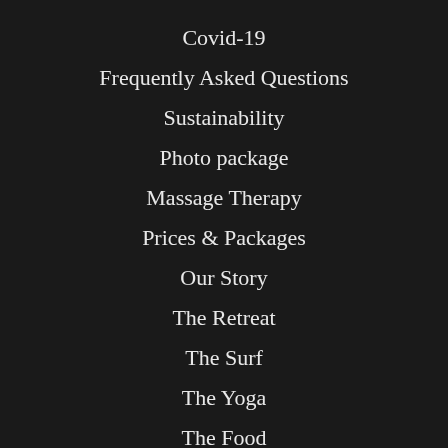Covid-19
Frequently Asked Questions
Sustainability
Photo package
Massage Therapy
Prices & Packages
Our Story
The Retreat
The Surf
The Yoga
The Food
Workshop Something…